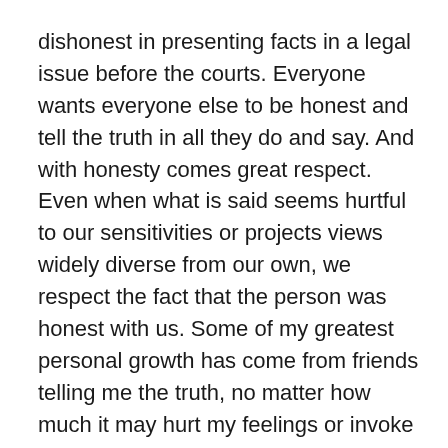dishonest in presenting facts in a legal issue before the courts. Everyone wants everyone else to be honest and tell the truth in all they do and say. And with honesty comes great respect. Even when what is said seems hurtful to our sensitivities or projects views widely diverse from our own, we respect the fact that the person was honest with us. Some of my greatest personal growth has come from friends telling me the truth, no matter how much it may hurt my feelings or invoke some negative response. And I love them for it.
So with all the expectations we have for others and this constant push to be honest from our earliest days, why do we all find ways to not be truthful? Certainly any hypocrisy that our parents displayed regarding being truthful drastically undersold us as children on its importance. When the pesky neighbor called and you answered, being